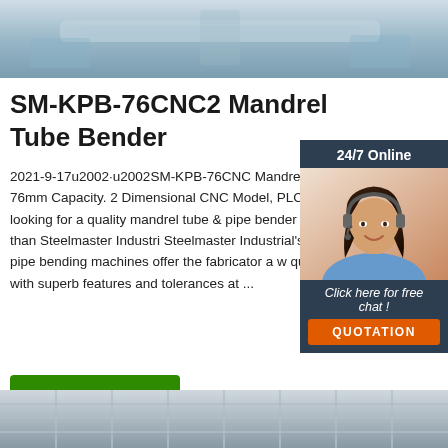[Figure (photo): Top photo showing industrial tube bending equipment in a factory setting]
SM-KPB-76CNC2 Mandrel Tube Bender
2021-9-17u2002·u2002SM-KPB-76CNC Mandrel Tube Bender. 76mm Capacity. 2 Dimensional CNC Model, PLC Control. W looking for a quality mandrel tube & pipe bender look no further than Steelmaster Industri Steelmaster Industrial's mandrel tube & pipe bending machines offer the fabricator a w quality machine with superb features and tolerances at ...
[Figure (photo): Chat widget with 24/7 Online support agent photo, Click here for free chat link, and QUOTATION button]
Get Price
[Figure (photo): Bottom photo showing industrial steel grid/grating structure]